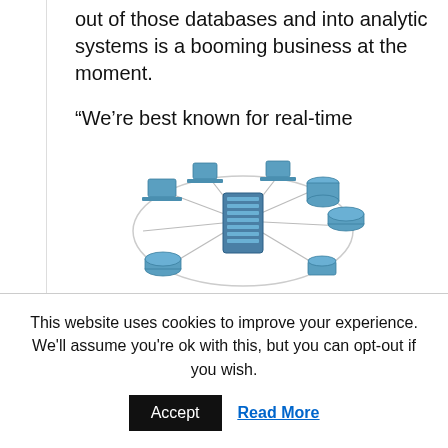out of those databases and into analytic systems is a booming business at the moment.
“We’re best known for real-time movement. CDC is the heart of what we do,” says Attunity’s vice president of product management and marketing Dan Potter. “We make our money by unlocking the data from those enterprise systems.”
[Figure (illustration): Network diagram illustration showing a central server rack connected to multiple devices (laptops, databases, tablets) arranged in a circular pattern around it, rendered in blue tones.]
This website uses cookies to improve your experience. We'll assume you're ok with this, but you can opt-out if you wish.